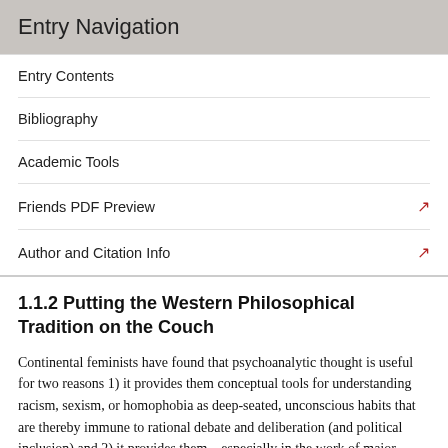Entry Navigation
Entry Contents
Bibliography
Academic Tools
Friends PDF Preview
Author and Citation Info
1.1.2 Putting the Western Philosophical Tradition on the Couch
Continental feminists have found that psychoanalytic thought is useful for two reasons 1) it provides them conceptual tools for understanding racism, sexism, or homophobia as deep-seated, unconscious habits that are thereby immune to rational debate and deliberation (and political inclusion) and 2) it provides them—especially in the work of major theorists like Freud and Lacan—a crystallization of cultural stereotypes and misconceptions